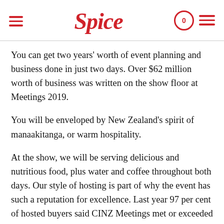Spice
You can get two years' worth of event planning and business done in just two days. Over $62 million worth of business was written on the show floor at Meetings 2019.
You will be enveloped by New Zealand's spirit of manaakitanga, or warm hospitality.
At the show, we will be serving delicious and nutritious food, plus water and coffee throughout both days. Our style of hosting is part of why the event has such a reputation for excellence. Last year 97 per cent of hosted buyers said CINZ Meetings met or exceeded their expectations.